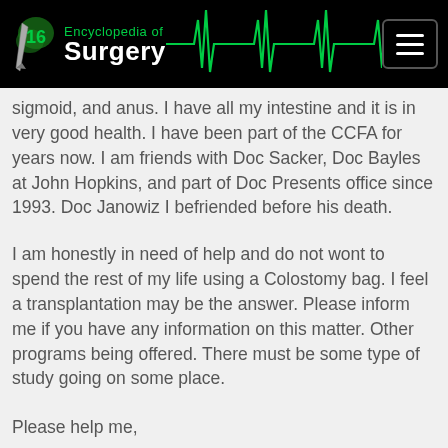Encyclopedia of Surgery
sigmoid, and anus. I have all my intestine and it is in very good health. I have been part of the CCFA for years now. I am friends with Doc Sacker, Doc Bayles at John Hopkins, and part of Doc Presents office since 1993. Doc Janowiz I befriended before his death.
I am honestly in need of help and do not wont to spend the rest of my life using a Colostomy bag. I feel a transplantation may be the answer. Please inform me if you have any information on this matter. Other programs being offered. There must be some type of study going on some place.
Please help me,